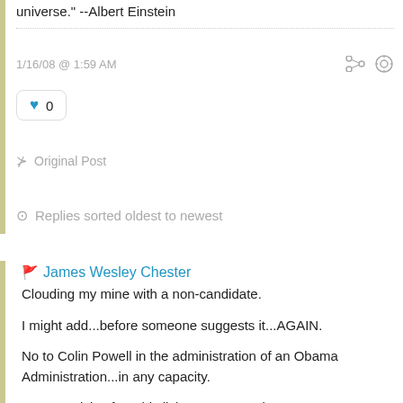universe." --Albert Einstein
1/16/08 @ 1:59 AM
0
Original Post
Replies sorted oldest to newest
James Wesley Chester
Clouding my mine with a non-candidate.

I might add...before someone suggests it...AGAIN.

No to Colin Powell in the administration of an Obama Administration...in any capacity.

He can advise from his living room... and